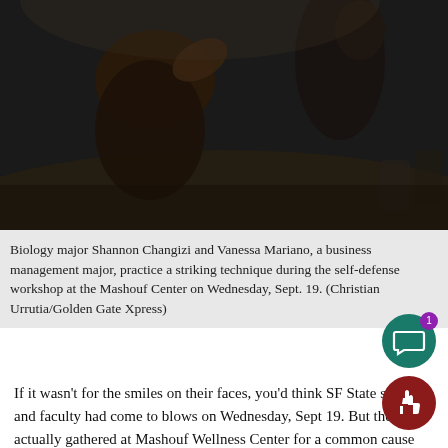[Figure (photo): Dark background photo of people practicing a striking technique in a gymnasium or wellness center setting]
Biology major Shannon Changizi and Vanessa Mariano, a business management major, practice a striking technique during the self-defense workshop at the Mashouf Center on Wednesday, Sept. 19. (Christian Urrutia/Golden Gate Xpress)
If it wasn’t for the smiles on their faces, you’d think SF State students and faculty had come to blows on Wednesday, Sept 19. But they’d actually gathered at Mashouf Wellness Center for a common cause that day — to learn self-defense.
SF State instructor Stephanie Cyr, who held the self-defense works drew upon her two decades of training in taekwondo, Krav Maga a boxing to demonstrate how effective such techniques can be if indy ever find themselves in a physical confrontation.